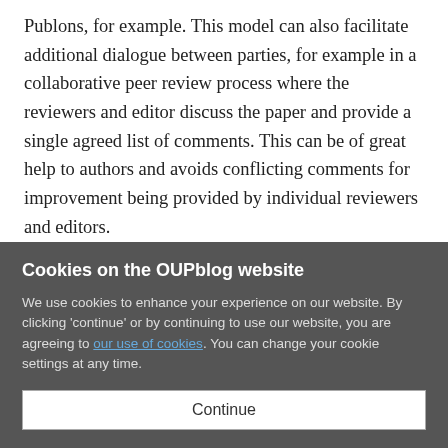Publons, for example. This model can also facilitate additional dialogue between parties, for example in a collaborative peer review process where the reviewers and editor discuss the paper and provide a single agreed list of comments. This can be of great help to authors and avoids conflicting comments for improvement being provided by individual reviewers and editors.
Transparent Peer Review
The Transparent Peer Review model can vary depending on
Cookies on the OUPblog website
We use cookies to enhance your experience on our website. By clicking 'continue' or by continuing to use our website, you are agreeing to our use of cookies. You can change your cookie settings at any time.
Continue